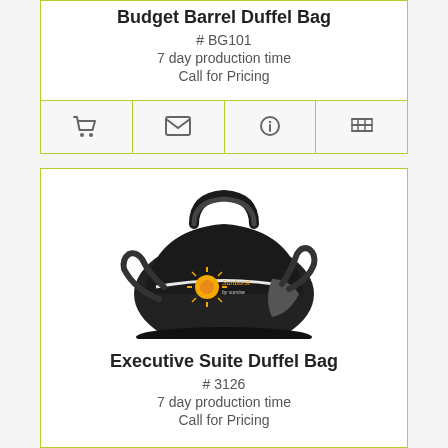Budget Barrel Duffel Bag
# BG101
7 day production time
Call for Pricing
[Figure (infographic): Four icon buttons in a row: shopping cart, envelope/email, info circle, and list/table icon]
[Figure (photo): Photo of a black Executive Suite Duffel Bag with white zipper accent, gray side pocket, and shoulder strap. Has a Sunburst logo on the front.]
Executive Suite Duffel Bag
# 3126
7 day production time
Call for Pricing